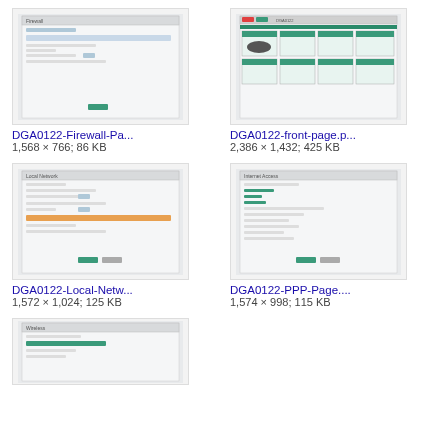[Figure (screenshot): Thumbnail of DGA0122 Firewall Page screenshot]
DGA0122-Firewall-Pa...
1,568 × 766; 86 KB
[Figure (screenshot): Thumbnail of DGA0122 front-page screenshot]
DGA0122-front-page.p...
2,386 × 1,432; 425 KB
[Figure (screenshot): Thumbnail of DGA0122 Local Network page screenshot]
DGA0122-Local-Netw...
1,572 × 1,024; 125 KB
[Figure (screenshot): Thumbnail of DGA0122 PPP Page screenshot]
DGA0122-PPP-Page....
1,574 × 998; 115 KB
[Figure (screenshot): Thumbnail of partial fifth screenshot (bottom of page)]